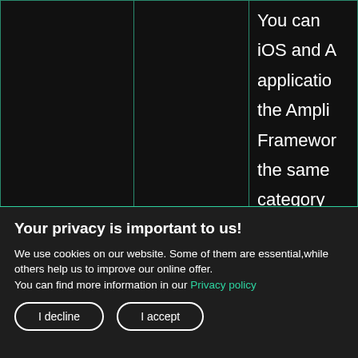|  |  |  |
| --- | --- | --- |
| Amplify for iOS and Android | Amplify | You can...
iOS and A...
applicatio...
the Ampli...
Framewor...
the same
category...
programm...
model th... |
Your privacy is important to us!
We use cookies on our website. Some of them are essential,while others help us to improve our online offer.
You can find more information in our Privacy policy
I decline
I accept